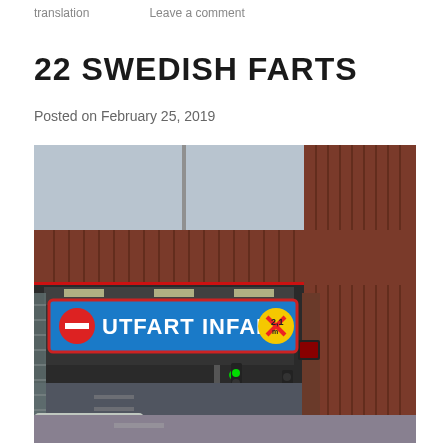translation   Leave a comment
22 SWEDISH FARTS
Posted on February 25, 2019
[Figure (photo): Photo of a parking garage entrance/exit with a blue sign reading 'UTFART INFART' with Swedish road signs (no-entry circle and 2.1m height limit), the structure has red/brown corrugated metal cladding]